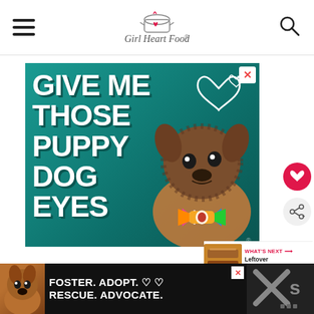Girl Heart Food (logo with hamburger menu and search icon)
[Figure (photo): Advertisement on teal/dark green background with large white bold text reading GIVE ME THOSE PUPPY DOG EYES, with a brindle puppy wearing a colorful bow tie, hearts illustrated in top right corner, and a close X button]
[Figure (photo): Side button: red heart/save button]
[Figure (photo): Side button: share button]
[Figure (photo): What's Next section with thumbnail of Leftover Meatloaf recipe and arrow]
[Figure (photo): Bottom banner advertisement on black background with dog photo: FOSTER. ADOPT. RESCUE. ADVOCATE. with heart icons and a close button]